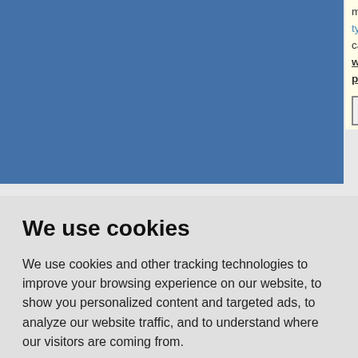[Figure (screenshot): Top portion of a software listing page showing a blue image placeholder on the left and product info (type: Shareware $29.00, categories: outlook, addin, addon, add..., winamp, time, date, macro, macros, c..., put, song) on a yellow background on the right, with View Details and Download buttons]
We use cookies
We use cookies and other tracking technologies to improve your browsing experience on our website, to show you personalized content and targeted ads, to analyze our website traffic, and to understand where our visitors are coming from.
I agree
Change my preferences